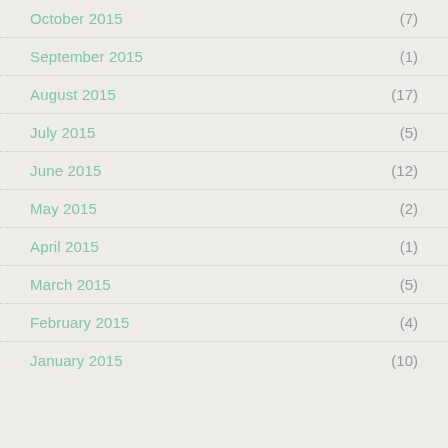October 2015 (7)
September 2015 (1)
August 2015 (17)
July 2015 (5)
June 2015 (12)
May 2015 (2)
April 2015 (1)
March 2015 (5)
February 2015 (4)
January 2015 (10)